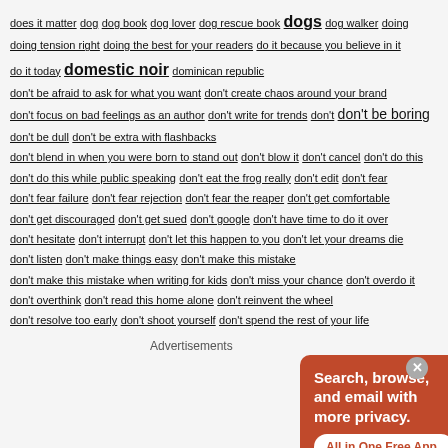does it matter dog dog book dog lover dog rescue book dogs dog walker doing doing tension right doing the best for your readers do it because you believe in it do it today domestic noir dominican republic don't be afraid to ask for what you want don't create chaos around your brand don't focus on bad feelings as an author don't write for trends don't don't be boring don't be dull don't be extra with flashbacks don't blend in when you were born to stand out don't blow it don't cancel don't do this don't do this while public speaking don't eat the frog really don't edit don't fear don't fear failure don't fear rejection don't fear the reaper don't get comfortable don't get discouraged don't get sued don't google don't have time to do it over don't hesitate don't interrupt don't let this happen to you don't let your dreams die don't listen don't make things easy don't make this mistake don't make this mistake when writing for kids don't miss your chance don't overdo it don't overthink don't read this home alone don't reinvent the wheel don't resolve too early don't shoot yourself don't spend the rest of your life
Advertisements
[Figure (other): DuckDuckGo advertisement banner showing orange background with text 'Search, browse, and email with more privacy. All in One Free App' and an image of a smartphone with DuckDuckGo logo]